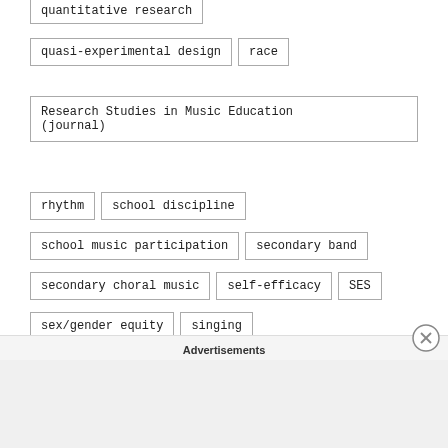quantitative research
quasi-experimental design
race
Research Studies in Music Education (journal)
rhythm
school discipline
school music participation
secondary band
secondary choral music
self-efficacy
SES
sex/gender equity
singing
student behavior
survey
talent
teacher beliefs
tonalities
Update: Applications of Research in Music Education (journal)
Advertisements